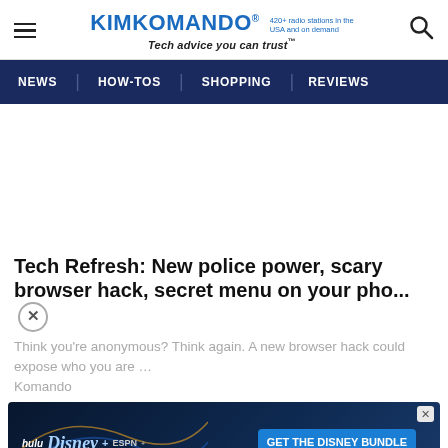KIMKOMANDO® 420+ radio stations in the USA and on demand Tech advice you can trust™
NEWS | HOW-TOS | SHOPPING | REVIEWS
Tech Refresh: New police power, scary browser hack, secret menu on your pho...
Think you're anonymous? Think again. A new browser hack could expose who you are … Komando...
[Figure (screenshot): Disney Bundle advertisement banner: hulu, Disney+, ESPN+ logos with 'GET THE DISNEY BUNDLE' call to action button. Fine print: Incl. Hulu (ad-supported) or Hulu (No Ads). Access content from each service separately. ©2021 Disney and its related entities.]